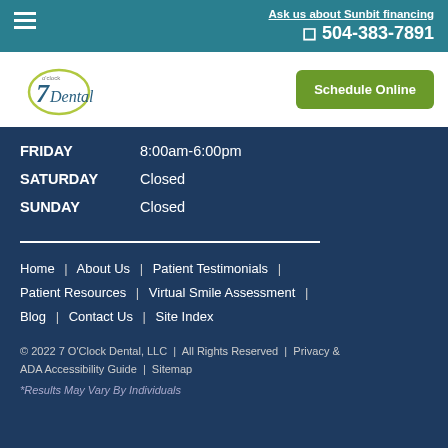Ask us about Sunbit financing | 504-383-7891
[Figure (logo): 7 O'Clock Dental logo with circular design]
Schedule Online
| Day | Hours |
| --- | --- |
| FRIDAY | 8:00am-6:00pm |
| SATURDAY | Closed |
| SUNDAY | Closed |
Home | About Us | Patient Testimonials | Patient Resources | Virtual Smile Assessment | Blog | Contact Us | Site Index
© 2022 7 O'Clock Dental, LLC | All Rights Reserved | Privacy & ADA Accessibility Guide | Sitemap
*Results May Vary By Individuals